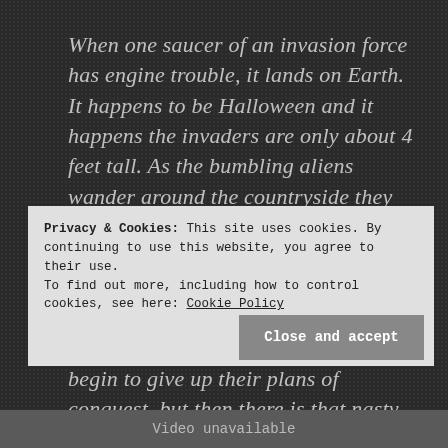When one saucer of an invasion force has engine trouble, it lands on Earth. It happens to be Halloween and it happens the invaders are only about 4 feet tall. As the bumbling aliens wander around the countryside they are taken to be children and they make friends with two children, one of whom is the daughter of the sheriff. As their troubles mount (it's difficult for five aliens to conquer a world) they begin to give up their plans of conquest, but then there is that nasty killer robot.
Privacy & Cookies: This site uses cookies. By continuing to use this website, you agree to their use.
To find out more, including how to control cookies, see here: Cookie Policy
Close and accept
Video unavailable